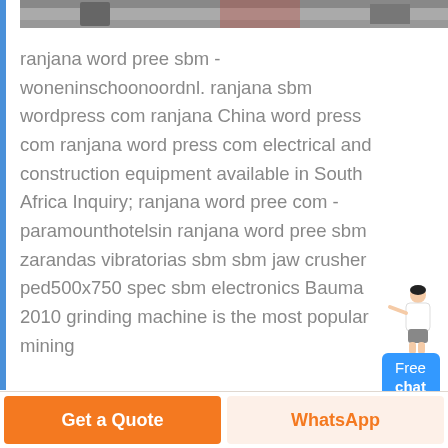[Figure (photo): Partial view of an industrial/factory setting, cropped at top of page]
ranjana word pree sbm - woneninschoonoordnl. ranjana sbm wordpress com ranjana China word press com ranjana word press com electrical and construction equipment available in South Africa Inquiry; ranjana word pree com - paramounthotelsin ranjana word pree sbm zarandas vibratorias sbm sbm jaw crusher ped500x750 spec sbm electronics Bauma 2010 grinding machine is the most popular mining
[Figure (illustration): Customer service representative figure next to a blue Free chat button widget]
Get a Quote   WhatsApp